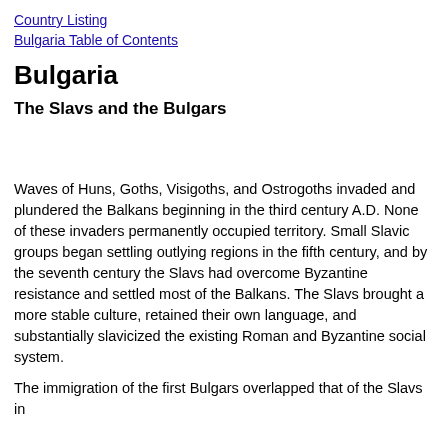Country Listing
Bulgaria Table of Contents
Bulgaria
The Slavs and the Bulgars
Waves of Huns, Goths, Visigoths, and Ostrogoths invaded and plundered the Balkans beginning in the third century A.D. None of these invaders permanently occupied territory. Small Slavic groups began settling outlying regions in the fifth century, and by the seventh century the Slavs had overcome Byzantine resistance and settled most of the Balkans. The Slavs brought a more stable culture, retained their own language, and substantially slavicized the existing Roman and Byzantine social system.
The immigration of the first Bulgars overlapped that of the Slavs in